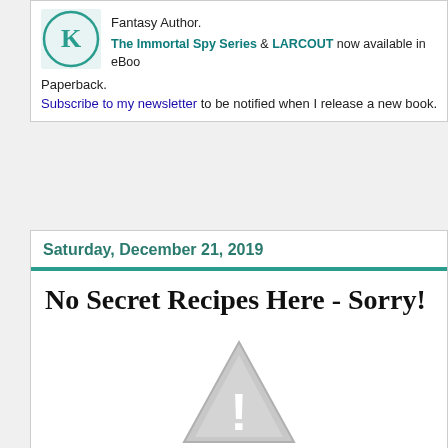[Figure (logo): Circular logo with letter K in teal/green color]
Fantasy Author.
The Immortal Spy Series & LARCOUT now available in eBook & Paperback.
Subscribe to my newsletter to be notified when I release a new book.
Saturday, December 21, 2019
No Secret Recipes Here - Sorry!
[Figure (illustration): Gray warning/caution triangle icon with exclamation mark]